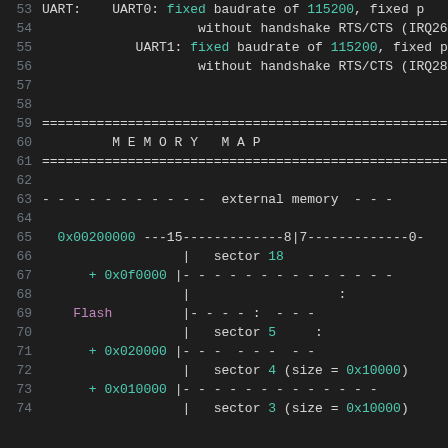53    UART:    UART0: fixed baudrate of 115200, fixed p
54                     without handshake RTS/CTS (IRQ26
55             UART1: fixed baudrate of 115200, fixed p
56                     without handshake RTS/CTS (IRQ28
57
58
59    =============================================
60             M E M O R Y   M A P
61    =============================================
62
63    - - - - - - - - - - -   external memory   - - -
64
65      0x00200000 ---15-----------8|7-----------0-
66                    |   sector 18
67        + 0x0f0000 |- - - - - - - - - - - - -
68                    |                   :
69      Flash         |- - - - :  - - -
70                    |   sector 5     :
71        + 0x020000 |- - -  - - -  - -
72                    |   sector 4 (size = 0x10000)
73        + 0x010000 |- - - - - - - - - - - - -
74                    |   sector 3 (size = 0x10000)